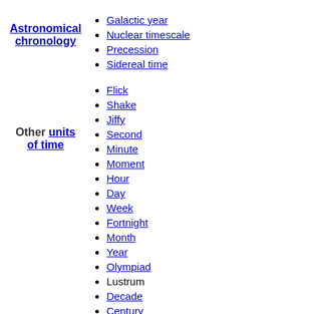Astronomical chronology
Galactic year
Nuclear timescale
Precession
Sidereal time
Other units of time
Flick
Shake
Jiffy
Second
Minute
Moment
Hour
Day
Week
Fortnight
Month
Year
Olympiad
Lustrum
Decade
Century
Saeculum
Millennium
Chronology